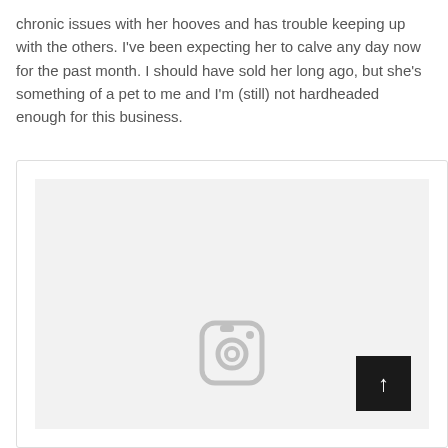chronic issues with her hooves and has trouble keeping up with the others. I've been expecting her to calve any day now for the past month. I should have sold her long ago, but she's something of a pet to me and I'm (still) not hardheaded enough for this business.
[Figure (other): A card/embed container with a light gray image placeholder area. An Instagram camera icon is centered near the bottom of the image area. A dark square button with an upward arrow is in the bottom-right corner of the image area.]